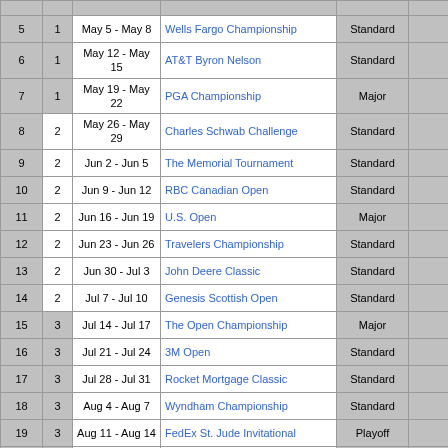| # | Seg | Dates | Tournament | Type | ... |
| --- | --- | --- | --- | --- | --- |
| 5 | 1 | May 5 - May 8 | Wells Fargo Championship | Standard |  |
| 6 | 1 | May 12 - May 15 | AT&T Byron Nelson | Standard |  |
| 7 | 1 | May 19 - May 22 | PGA Championship | Major |  |
| 8 | 2 | May 26 - May 29 | Charles Schwab Challenge | Standard |  |
| 9 | 2 | Jun 2 - Jun 5 | The Memorial Tournament | Standard |  |
| 10 | 2 | Jun 9 - Jun 12 | RBC Canadian Open | Standard |  |
| 11 | 2 | Jun 16 - Jun 19 | U.S. Open | Major |  |
| 12 | 2 | Jun 23 - Jun 26 | Travelers Championship | Standard |  |
| 13 | 2 | Jun 30 - Jul 3 | John Deere Classic | Standard |  |
| 14 | 2 | Jul 7 - Jul 10 | Genesis Scottish Open | Standard |  |
| 15 | 3 | Jul 14 - Jul 17 | The Open Championship | Major |  |
| 16 | 3 | Jul 21 - Jul 24 | 3M Open | Standard |  |
| 17 | 3 | Jul 28 - Jul 31 | Rocket Mortgage Classic | Standard |  |
| 18 | 3 | Aug 4 - Aug 7 | Wyndham Championship | Standard |  |
| 19 | 3 | Aug 11 - Aug 14 | FedEx St. Jude Invitational | Playoff |  |
| 20 | 3 | Aug 18 - Aug 21 | BMW Championship (No Cut) | Playoff |  |
| 21 | 3 | Aug 25 - Aug 27 | TOUR Championship (No Cut) | Playoff |  |